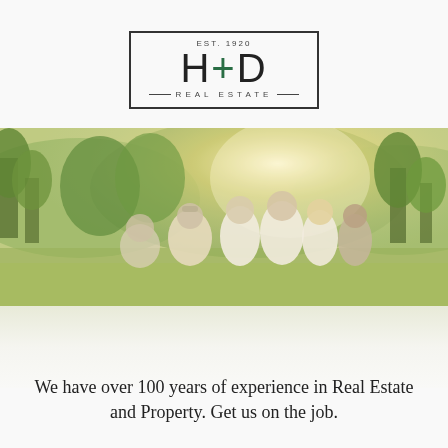[Figure (logo): H+D Real Estate logo with EST. 1920, bordered rectangle, green plus sign]
[Figure (photo): Outdoor photo of a group of people standing together in a sunny landscape with green trees and hills in the background]
We have over 100 years of experience in Real Estate and Property. Get us on the job.